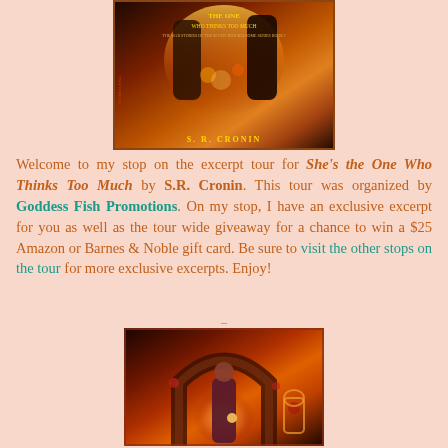[Figure (photo): Book cover of 'She's the One Who Thinks Too Much' by S.R. Cronin, showing fantasy figures with fire and magic effects]
Welcome to my stop on the excerpt tour for She's the One Who Thinks Too Much by S.R. Cronin. This tour was organized by Goddess Fish Promotions. On my stop, I have an exclusive excerpt for you as well as the tour wide giveaway for a chance to win a $25 Amazon or Barnes & Noble gift card. Be sure to visit the other stops on the tour for more exclusive excerpts. Enjoy!
[Figure (photo): Fantasy illustration of a woman in a red dress standing under a stone arch with magical fire and roses, related to the book 'She's the One Who Thinks Too Much']